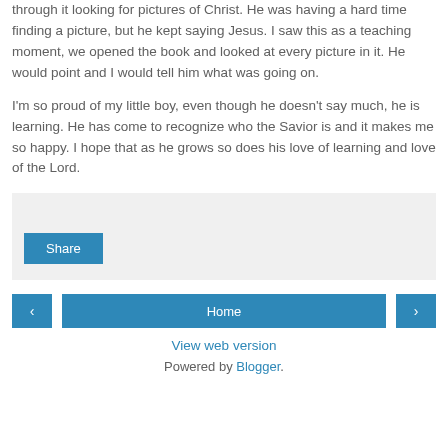through it looking for pictures of Christ. He was having a hard time finding a picture, but he kept saying Jesus. I saw this as a teaching moment, we opened the book and looked at every picture in it. He would point and I would tell him what was going on.
I'm so proud of my little boy, even though he doesn't say much, he is learning. He has come to recognize who the Savior is and it makes me so happy. I hope that as he grows so does his love of learning and love of the Lord.
[Figure (screenshot): Share button area with light gray background]
Share
Home
View web version
Powered by Blogger.